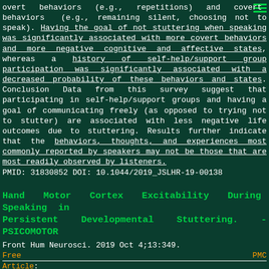overt behaviors (e.g., repetitions) and covert behaviors (e.g., remaining silent, choosing not to speak). Having the goal of not stuttering when speaking was significantly associated with more covert behaviors and more negative cognitive and affective states, whereas a history of self-help/support group participation was significantly associated with a decreased probability of these behaviors and states. Conclusion Data from this survey suggest that participating in self-help/support groups and having a goal of communicating freely (as opposed to trying not to stutter) are associated with less negative life outcomes due to stuttering. Results further indicate that the behaviors, thoughts, and experiences most commonly reported by speakers may not be those that are most readily observed by listeners.
PMID: 31830852 DOI: 10.1044/2019_JSLHR-19-00138
Hand Motor Cortex Excitability During Speaking in Persistent Developmental Stuttering. - PSICOMOTOR
Front Hum Neurosci. 2019 Oct 4;13:349.
Free   PMC
Article: https://www.ncbi.nlm.nih.gov/pmc/articles/PMC6788188/pdf/fnhum-13-00349.pdf